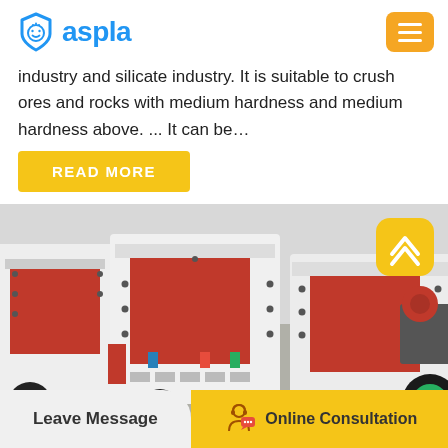aspla
industry and silicate industry. It is suitable to crush ores and rocks with medium hardness and medium hardness above. ... It can be…
READ MORE
[Figure (photo): Multiple white and red industrial impact crusher machines lined up in a warehouse/factory setting, with visible wheels and heavy machinery components]
Leave Message
Online Consultation